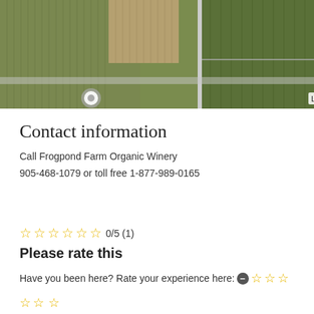[Figure (map): Aerial/satellite map view of farmland with road labeled 'Line 5 Rd']
Contact information
Call Frogpond Farm Organic Winery
905-468-1079 or toll free 1-877-989-0165
☆☆☆☆☆☆ 0/5 (1)
Please rate this
Have you been here? Rate your experience here: ● ☆☆☆☆☆